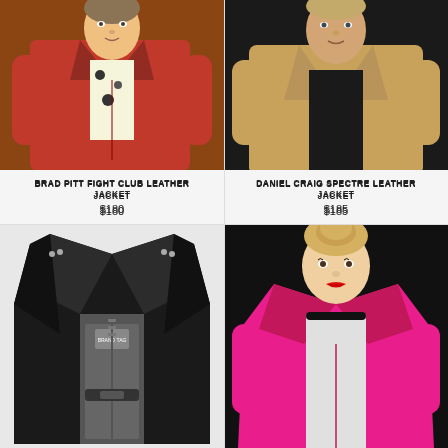[Figure (photo): Brad Pitt wearing red leather jacket from Fight Club]
BRAD PITT FIGHT CLUB LEATHER JACKET
$180
[Figure (photo): Daniel Craig wearing tan/suede leather jacket from Spectre]
DANIEL CRAIG SPECTRE LEATHER JACKET
$185
[Figure (photo): Black leather moto jacket laid flat showing interior lining]
[Figure (photo): Woman (Gwen Stefani) wearing hot pink leather jacket]